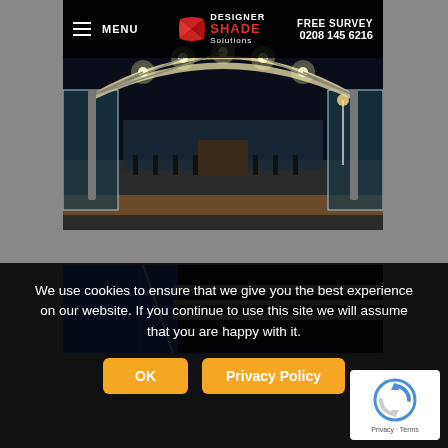MENU | DESIGNER SHADE Solutions | FREE SURVEY 0208 145 6216
[Figure (photo): Outdoor covered structure with tensile canopy and glass balustrades photographed at night with interior lighting illuminating the space]
[Figure (photo): Partial view of a blue and grey canopy structure]
We use cookies to ensure that we give you the best experience on our website. If you continue to use this site we will assume that you are happy with it.
OK  Privacy Policy